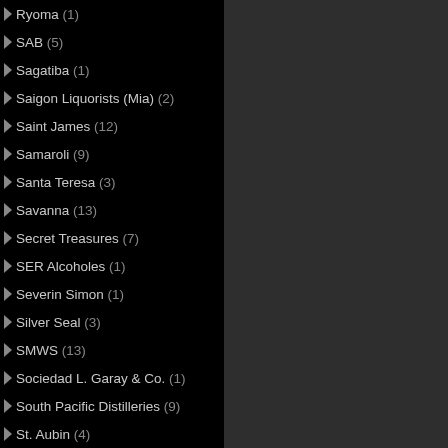Ryoma (1)
SAB (5)
Sagatiba (1)
Saigon Liquorists (Mia) (2)
Saint James (12)
Samaroli (9)
Santa Teresa (3)
Savanna (13)
Secret Treasures (7)
SER Alcoholes (1)
Severin Simon (1)
Silver Seal (3)
SMWS (13)
Sociedad L. Garay & Co. (1)
South Pacific Distilleries (9)
St. Aubin (4)
St. Lucia Distillers (17)
St. Nicholas Abbey (7)
St. Vincent Distillers (1)
Stroh (3)